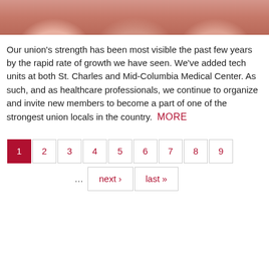[Figure (photo): Cropped photo of people (faces visible from chin/nose area), wearing pink/red clothing, appears to be a group selfie or close-up group photo.]
Our union's strength has been most visible the past few years by the rapid rate of growth we have seen. We've added tech units at both St. Charles and Mid-Columbia Medical Center. As such, and as healthcare professionals, we continue to organize and invite new members to become a part of one of the strongest union locals in the country.  MORE
1
2
3
4
5
6
7
8
9
...
next ›
last »